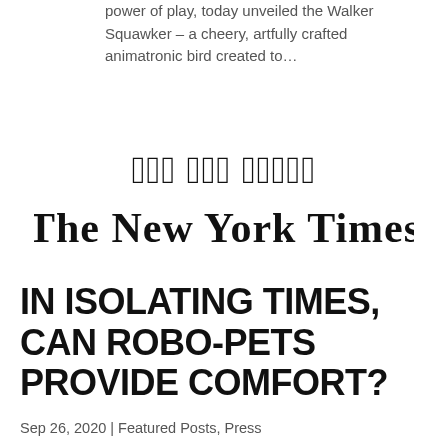power of play, today unveiled the Walker Squawker – a cheery, artfully crafted animatronic bird created to…
[Figure (logo): The New York Times masthead logo in blackletter/gothic font]
IN ISOLATING TIMES, CAN ROBO-PETS PROVIDE COMFORT?
Sep 26, 2020 | Featured Posts, Press